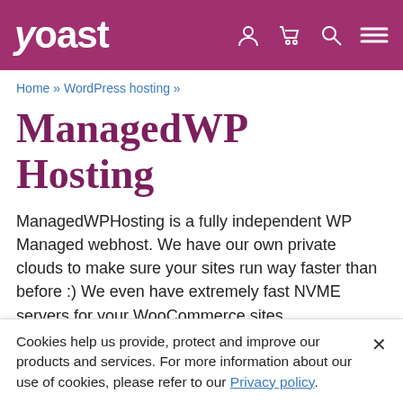yoast
Home » WordPress hosting »
ManagedWP Hosting
ManagedWPHosting is a fully independent WP Managed webhost. We have our own private clouds to make sure your sites run way faster than before :) We even have extremely fast NVME servers for your WooCommerce sites.
Cookies help us provide, protect and improve our products and services. For more information about our use of cookies, please refer to our Privacy policy.